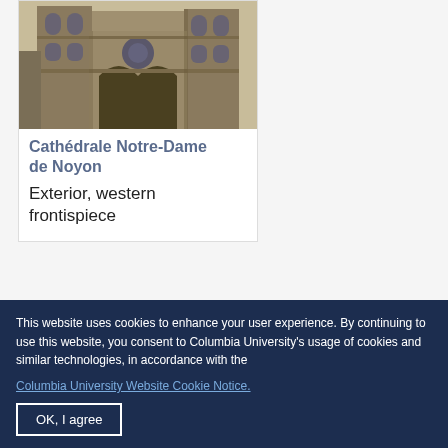[Figure (photo): Photograph of the exterior western frontispiece of Cathédrale Notre-Dame de Noyon, showing Gothic stone facade with arched windows and doorways]
Cathédrale Notre-Dame de Noyon
Exterior, western frontispiece
[Figure (photo): Partial photograph showing stone vaulted ceiling or architectural detail of a cathedral interior]
This website uses cookies to enhance your user experience. By continuing to use this website, you consent to Columbia University's usage of cookies and similar technologies, in accordance with the
Columbia University Website Cookie Notice.
OK, I agree